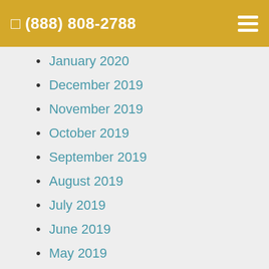☎ (888) 808-2788
January 2020
December 2019
November 2019
October 2019
September 2019
August 2019
July 2019
June 2019
May 2019
April 2019
March 2019
February 2019
January 2019
December 2018